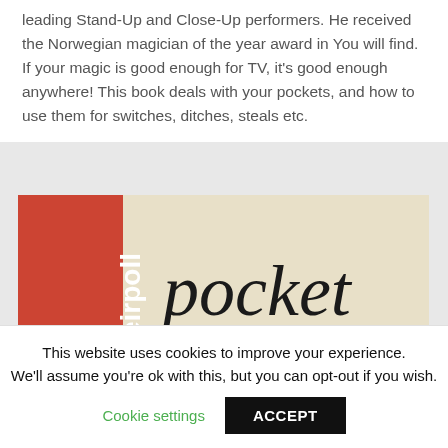leading Stand-Up and Close-Up performers. He received the Norwegian magician of the year award in You will find. If your magic is good enough for TV, it's good enough anywhere! This book deals with your pockets, and how to use them for switches, ditches, steals etc.
[Figure (illustration): Book cover image showing 'eirpoll pocket POWER' text. Red vertical banner on left with white vertical text 'eirpoll', cream/beige background, large italic serif text 'pocket' in dark color, red banner at bottom with 'POWER' text.]
This website uses cookies to improve your experience. We'll assume you're ok with this, but you can opt-out if you wish. Cookie settings ACCEPT